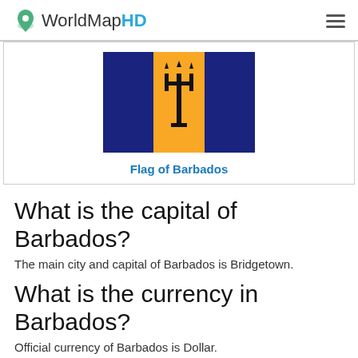WorldMapHD
[Figure (illustration): Flag of Barbados — three vertical stripes (blue, yellow, blue) with a black trident in the center yellow stripe]
Flag of Barbados
What is the capital of Barbados?
The main city and capital of Barbados is Bridgetown.
What is the currency in Barbados?
Official currency of Barbados is Dollar.
What is the population of Barbados?